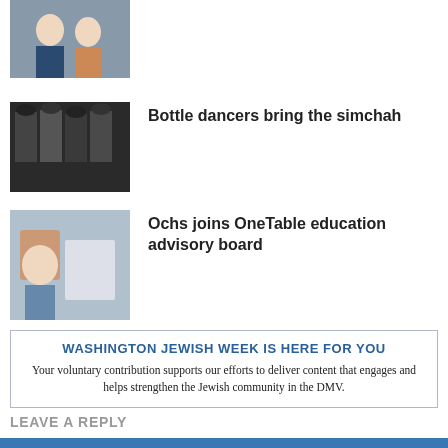[Figure (photo): Photo of a couple, man in suit and woman, partially cropped at top]
[Figure (photo): Photo of bottle dancers in black costumes with hats]
Bottle dancers bring the simchah
[Figure (photo): Photo of a person at a table with items, related to OneTable]
Ochs joins OneTable education advisory board
WASHINGTON JEWISH WEEK IS HERE FOR YOU
Your voluntary contribution supports our efforts to deliver content that engages and helps strengthen the Jewish community in the DMV.
LEAVE A REPLY
CONTRIBUTE
Comment